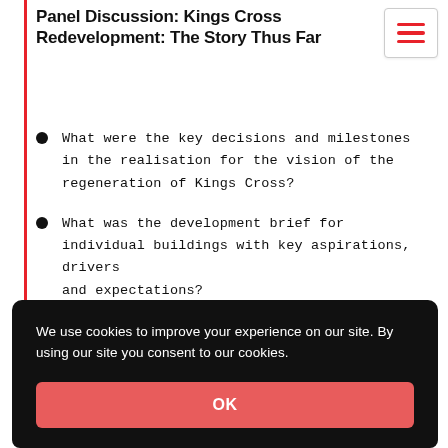Panel Discussion: Kings Cross Redevelopment: The Story Thus Far
What were the key decisions and milestones in the realisation for the vision of the regeneration of Kings Cross?
What was the development brief for individual buildings with key aspirations, drivers and expectations?
Insight on the architectural response to the
We use cookies to improve your experience on our site. By using our site you consent to our cookies.